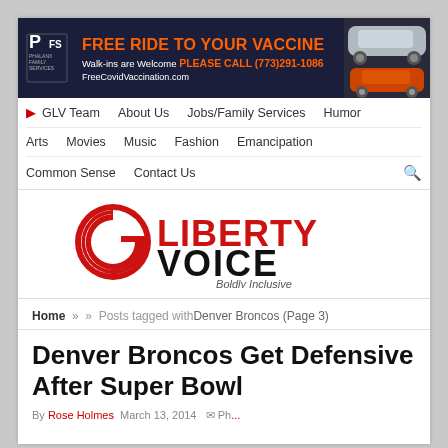[Figure (infographic): Advertisement banner: FREE RIDE TO YOUR VACCINE. Walk-ins are Welcome PLEASE CALL (773)291-1086. FreeCovidVaccination.com. Shows Phalanx Family Services logo and car images.]
GLV Team   About Us   Jobs/Family Services   Humor   Arts   Movies   Music   Fashion   Emancipation   Common Sense   Contact Us
[Figure (logo): Liberty Voice logo — red circular G icon with LIBERTY VOICE text and tagline Boldly Inclusive]
Home » » Posts tagged withDenver Broncos (Page 3)
Denver Broncos Get Defensive After Super Bowl
By  March 13, 2014  Ph...